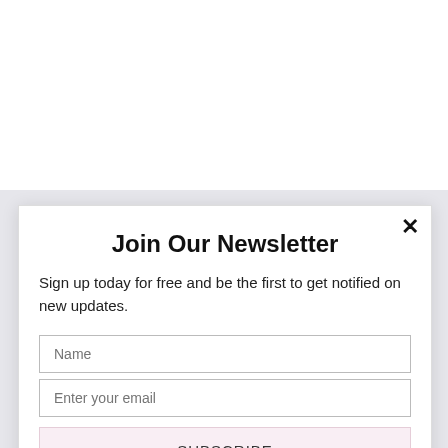way to extract that energy for practical purposes. How can we translate this to humans.
How to get luzu online
[Figure (screenshot): Newsletter subscription modal popup with close button, title 'Join Our Newsletter', description text, Name input field, Enter your email input field, SUBSCRIBE button, and 'powered by MailMunch' footer.]